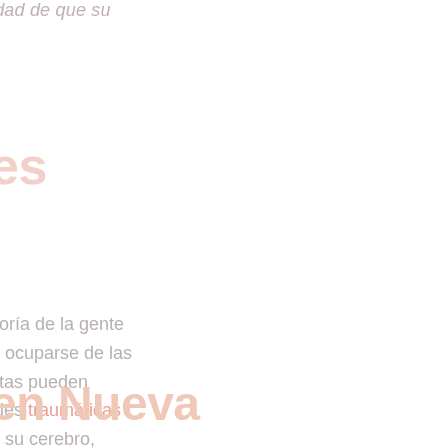idad de que su
es
yoría de la gente
e ocuparse de las
stas pueden
ales traumáticas
e su cerebro,
na en que procesa
ción. Las lesiones
recuperación,
y adaptaciones
en Nueva